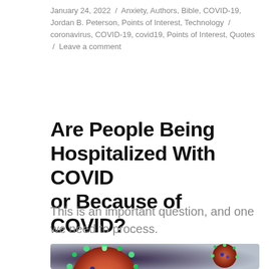January 24, 2022 / Anxiety, Authors, Bible, COVID-19, Jordan B. Peterson, Points of Interest, Technology / coronavirus, COVID-19, covid19, Points of Interest, Quotes / Leave a comment
Are People Being Hospitalized With COVID or Because of COVID?
This is an important question, and one we need to process.
[Figure (photo): Close-up 3D rendering of coronavirus particles with green spike proteins on orange-red bodies against a purple-grey background.]